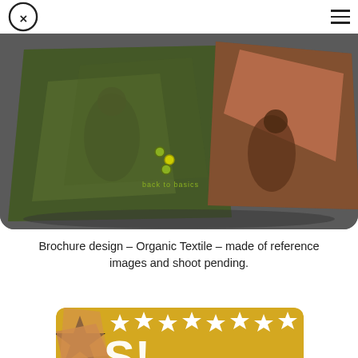Cx logo and hamburger menu
[Figure (photo): Brochure design mockup showing organic textile themed brochure pages fanned out on a dark gray background, with figures draped in green and earth-toned fabrics and text 'back to basics']
Brochure design – Organic Textile – made of reference images and shoot pending.
[Figure (photo): Yellow background graphic with black stars and white stars, partial text visible at bottom suggesting a promotional or award-style design]